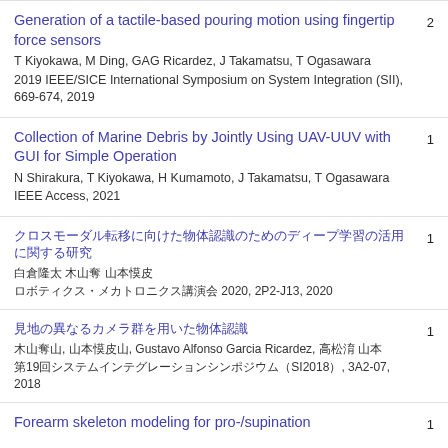Generation of a tactile-based pouring motion using fingertip force sensors
T Kiyokawa, M Ding, GAG Ricardez, J Takamatsu, T Ogasawara
2019 IEEE/SICE International Symposium on System Integration (SII), 669-674, 2019
Citations: 2
Collection of Marine Debris by Jointly Using UAV-UUV with GUI for Simple Operation
N Shirakura, T Kiyokawa, H Kumamoto, J Takamatsu, T Ogasawara
IEEE Access, 2021
Citations: 1
[Japanese title - unintelligible characters]
[Japanese authors]
[Japanese venue] 2020, 2P2-J13, 2020
Citations: 1
[Japanese title - unintelligible characters]
[Japanese authors], Gustavo Alfonso Garcia Ricardez, [Japanese authors]
[Japanese venue - 19th ...SI2018], 3A2-07, 2018
Citations: 1
Forearm skeleton modeling for pro-/supination ...
Citations: 1